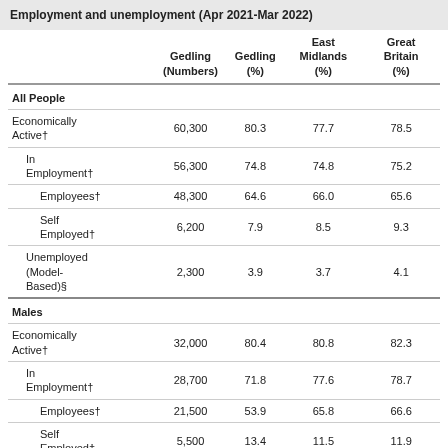Employment and unemployment (Apr 2021-Mar 2022)
|  | Gedling (Numbers) | Gedling (%) | East Midlands (%) | Great Britain (%) |
| --- | --- | --- | --- | --- |
| All People |  |  |  |  |
| Economically Active† | 60,300 | 80.3 | 77.7 | 78.5 |
| In Employment† | 56,300 | 74.8 | 74.8 | 75.2 |
| Employees† | 48,300 | 64.6 | 66.0 | 65.6 |
| Self Employed† | 6,200 | 7.9 | 8.5 | 9.3 |
| Unemployed (Model-Based)§ | 2,300 | 3.9 | 3.7 | 4.1 |
| Males |  |  |  |  |
| Economically Active† | 32,000 | 80.4 | 80.8 | 82.3 |
| In Employment† | 28,700 | 71.8 | 77.6 | 78.7 |
| Employees† | 21,500 | 53.9 | 65.8 | 66.6 |
| Self Employed† | 5,500 | 13.4 | 11.5 | 11.9 |
| Unemployed§ | # | # | 3.9 | 4.3 |
| Females |  |  |  |  |
| Economically Active† | 28,300 | 80.2 | 74.7 | 74.7 |